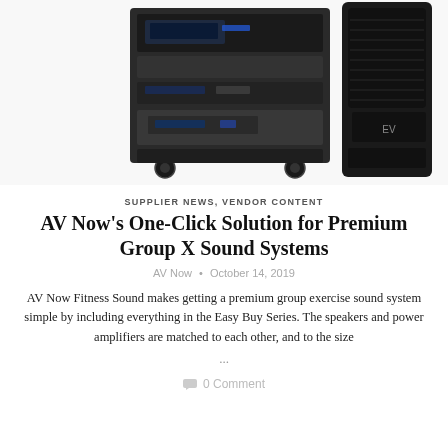[Figure (photo): Photo of audio/visual equipment: a rack-mounted AV system with amplifiers and media players on wheels, alongside a large black speaker cabinet.]
SUPPLIER NEWS, VENDOR CONTENT
AV Now's One-Click Solution for Premium Group X Sound Systems
AV Now • October 14, 2019
AV Now Fitness Sound makes getting a premium group exercise sound system simple by including everything in the Easy Buy Series. The speakers and power amplifiers are matched to each other, and to the size ...
0 Comment